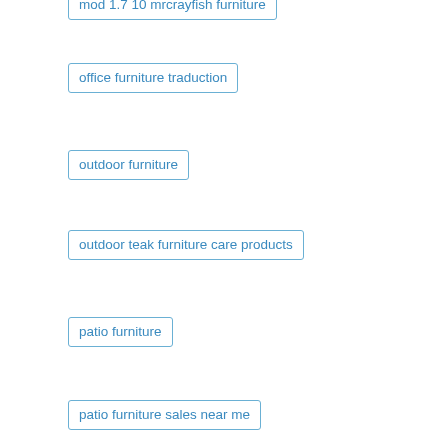mod 1.7 10 mrcrayfish furniture
office furniture traduction
outdoor furniture
outdoor teak furniture care products
patio furniture
patio furniture sales near me
teak bedroom furniture winnipeg
teak furniture for sale montreal
teak furniture ottawa bank street
teak furniture toronto
teak garden furniture